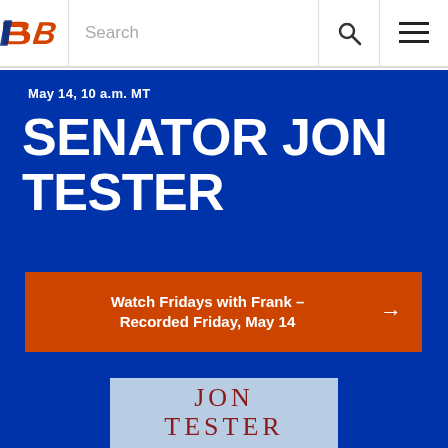Boise State University – Search navigation header
May 14, 10 a.m. MT
SENATOR JON TESTER
Watch Fridays with Frank – Recorded Friday, May 14
[Figure (other): Book cover showing JON TESTER in red serif text on light blue background]